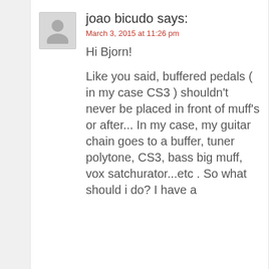[Figure (illustration): Gray avatar/placeholder person icon in a light gray square box]
joao bicudo says:
March 3, 2015 at 11:26 pm
Hi Bjorn!

Like you said, buffered pedals ( in my case CS3 ) shouldn't never be placed in front of muff's or after... In my case, my guitar chain goes to a buffer, tuner polytone, CS3, bass big muff, vox satchurator...etc . So what should i do? I have a